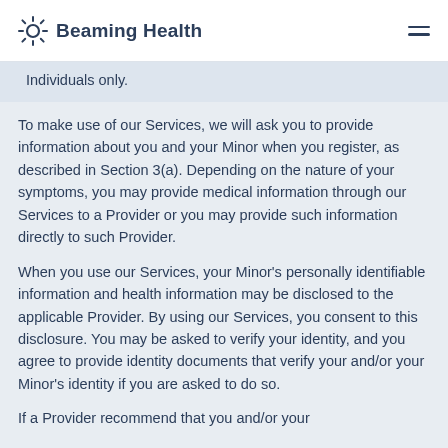Beaming Health
Individuals only.
To make use of our Services, we will ask you to provide information about you and your Minor when you register, as described in Section 3(a). Depending on the nature of your symptoms, you may provide medical information through our Services to a Provider or you may provide such information directly to such Provider.
When you use our Services, your Minor’s personally identifiable information and health information may be disclosed to the applicable Provider. By using our Services, you consent to this disclosure. You may be asked to verify your identity, and you agree to provide identity documents that verify your and/or your Minor’s identity if you are asked to do so.
If a Provider recommend that you and/or your